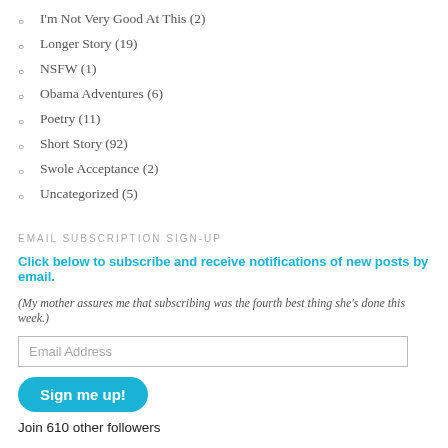I'm Not Very Good At This (2)
Longer Story (19)
NSFW (1)
Obama Adventures (6)
Poetry (11)
Short Story (92)
Swole Acceptance (2)
Uncategorized (5)
EMAIL SUBSCRIPTION SIGN-UP
Click below to subscribe and receive notifications of new posts by email.
(My mother assures me that subscribing was the fourth best thing she's done this week.)
Email Address
Sign me up!
Join 610 other followers
WELL, WHAT IS THIS?